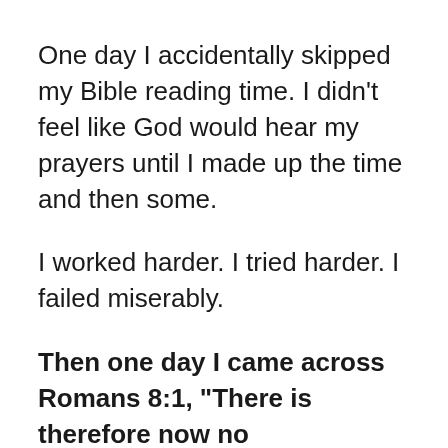One day I accidentally skipped my Bible reading time. I didn’t feel like God would hear my prayers until I made up the time and then some.
I worked harder. I tried harder. I failed miserably.
Then one day I came across Romans 8:1, “There is therefore now no condemnation for those who are in Christ Jesus.”
I remember the moment I read it. I remember what I was wearing and where I was sitting. And